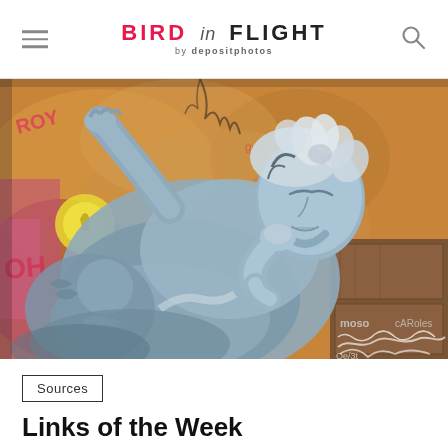BIRD IN FLIGHT by depositphotos
[Figure (photo): Street art mural depicting a classical sculpture-style figure reclining against a graffiti-covered wall, with a second classical figure. The main figure is rendered in blue-grey tones with flowers in hair, resting chin on hand. Background has colorful graffiti tags in yellow, red, pink, orange. On the right side is a partial view of a doorway or wooden panel with additional graffiti tags.]
Sources
Links of the Week